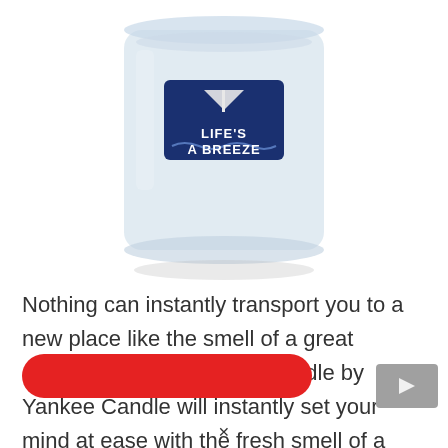[Figure (photo): Yankee Candle 'Life's A Breeze' large 2-wick candle in a clear glass jar with light blue wax and a blue nautical label showing a sailboat and the text LIFE'S A BREEZE]
Nothing can instantly transport you to a new place like the smell of a great candle. This large 2-wick candle by Yankee Candle will instantly set your mind at ease with the fresh smell of a sea breeze.